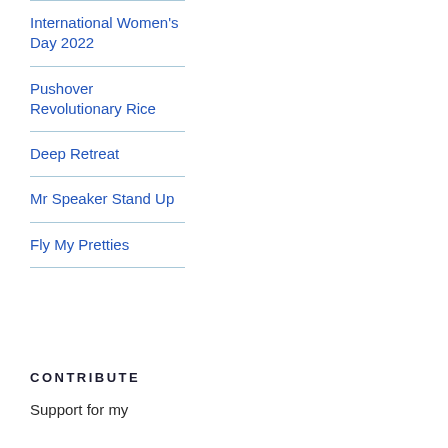International Women's Day 2022
Pushover Revolutionary Rice
Deep Retreat
Mr Speaker Stand Up
Fly My Pretties
CONTRIBUTE
Support for my